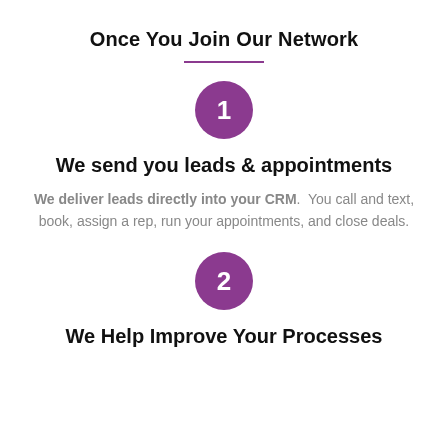Once You Join Our Network
[Figure (infographic): Purple circle with white number 1 representing step 1]
We send you leads & appointments
We deliver leads directly into your CRM. You call and text, book, assign a rep, run your appointments, and close deals.
[Figure (infographic): Purple circle with white number 2 representing step 2]
We Help Improve Your Processes